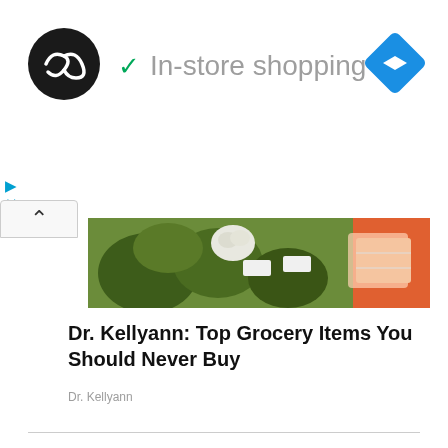[Figure (logo): Dark circular logo with looping arrow icon]
✓ In-store shopping
[Figure (illustration): Blue diamond-shaped navigation arrow icon]
[Figure (photo): Grocery store produce aisle photo showing green vegetables and packaged meat]
Dr. Kellyann: Top Grocery Items You Should Never Buy
Dr. Kellyann
Recommended